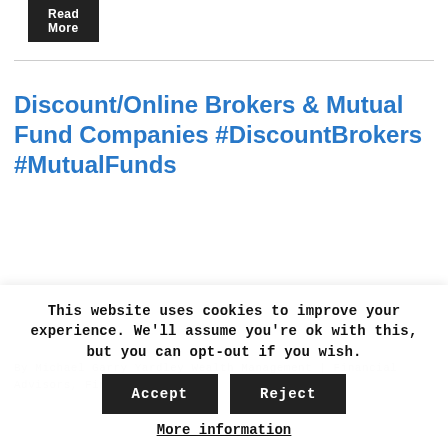[Figure (other): Read More button — dark/black background with white text]
Discount/Online Brokers & Mutual Fund Companies #DiscountBrokers #MutualFunds
By Michael Garry Yardley Wealth Management | Financial Advisors, Financial
This website uses cookies to improve your experience. We'll assume you're ok with this, but you can opt-out if you wish.
Accept  Reject
More information